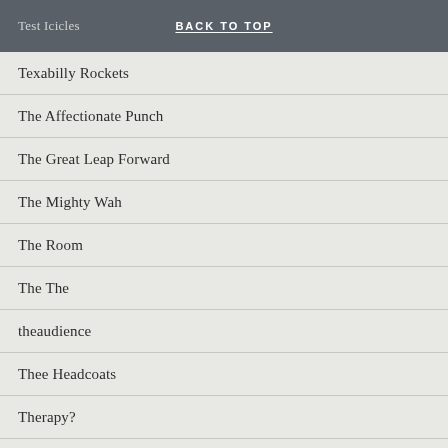Test Icicles | BACK TO TOP
Texabilly Rockets
The Affectionate Punch
The Great Leap Forward
The Mighty Wah
The Room
The The
theaudience
Thee Headcoats
Therapy?
These Animal Men
They Might Be Giants
Thin White Rope